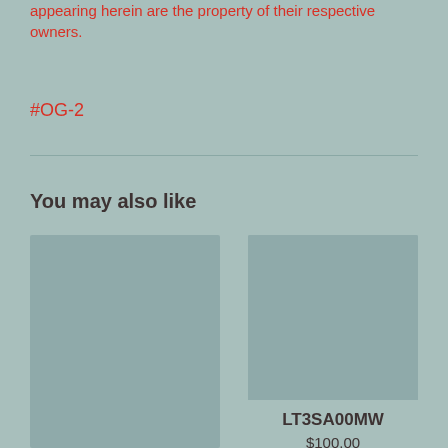appearing herein are the property of their respective owners.
#OG-2
You may also like
[Figure (photo): Product image placeholder (left card), large grey-green rectangle]
[Figure (photo): Product image placeholder (right card), grey-green rectangle]
LT3SA00MW
$100.00